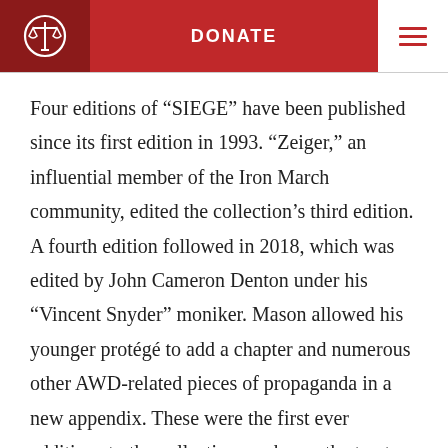DONATE
Four editions of “SIEGE” have been published since its first edition in 1993. “Zeiger,” an influential member of the Iron March community, edited the collection’s third edition. A fourth edition followed in 2018, which was edited by John Cameron Denton under his “Vincent Snyder” moniker. Mason allowed his younger protégé to add a chapter and numerous other AWD-related pieces of propaganda in a new appendix. These were the first ever additions to the collection, such was the trust between Mason and AWD.